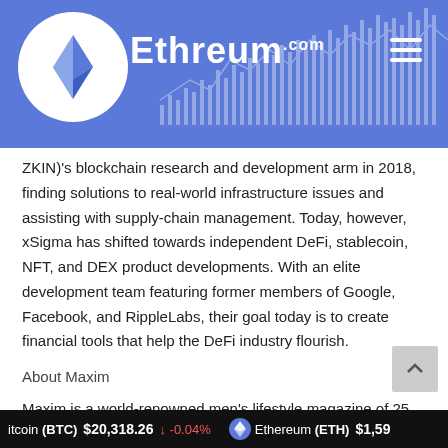Ethereum.com
ZKIN)'s blockchain research and development arm in 2018, finding solutions to real-world infrastructure issues and assisting with supply-chain management. Today, however, xSigma has shifted towards independent DeFi, stablecoin, NFT, and DEX product developments. With an elite development team featuring former members of Google, Facebook, and RippleLabs, their goal today is to create financial tools that help the DeFi industry flourish.
About Maxim
Maxim is a world-renowned men's lifestyle magazine of 25 years. They provide content covering cars, travel, and
Bitcoin (BTC) $20,318.26 ↓ -0.04% Ethereum (ETH) $1,59